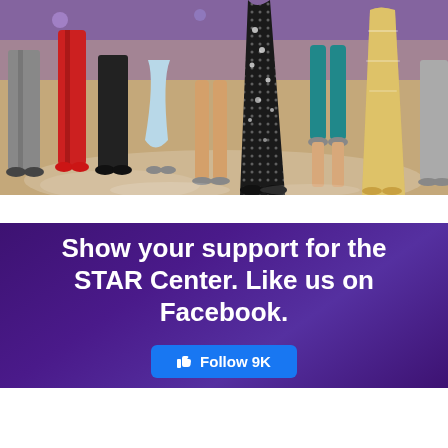[Figure (photo): Photo of dancers on a dance floor, showing legs and formal/colorful attire including red pants, black embellished gown, gold sequin dress, teal dress, on a wooden dance floor with stage lighting]
Show your support for the STAR Center. Like us on Facebook.
Follow 9K